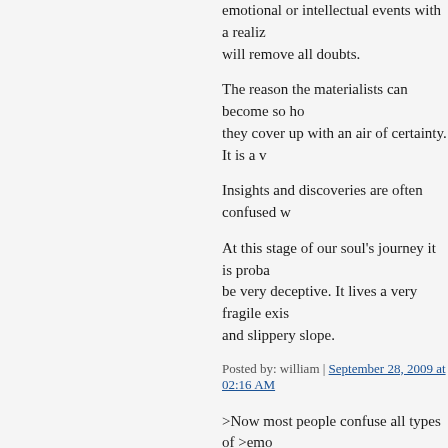emotional or intellectual events with a realization will remove all doubts.
The reason the materialists can become so ho they cover up with an air of certainty. It is a v
Insights and discoveries are often confused w
At this stage of our soul's journey it is proba be very deceptive. It lives a very fragile exis and slippery slope.
Posted by: william | September 28, 2009 at 02:16 AM
>Now most people confuse all types of >emo >realization. If you have one you will know
Are you referring to Plotinus' non-discursive into words, or is it a case of "he who speaks speak"?
>Vladimir Lenin, Bertrand Russell,
>Ayn Rand, James Randi - they are
>always convinced that they are doing
>the world a favor by condescending to